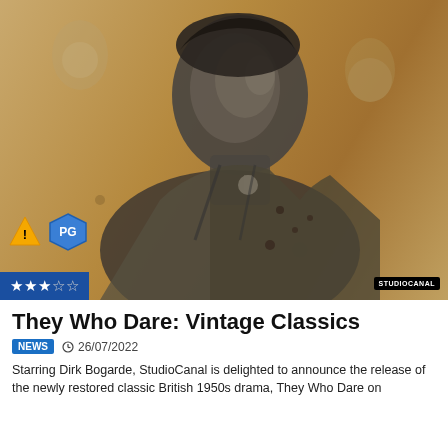[Figure (photo): Black and white photograph of actor Dirk Bogarde in a worn military/desert outfit, sweating, with a sepia/golden vintage background. Overlaid with age rating symbols (triangle warning, PG badge), star rating (3 out of 5 stars), and StudioCanal logo badge.]
They Who Dare: Vintage Classics
NEWS  © 26/07/2022
Starring Dirk Bogarde, StudioCanal is delighted to announce the release of the newly restored classic British 1950s drama, They Who Dare on